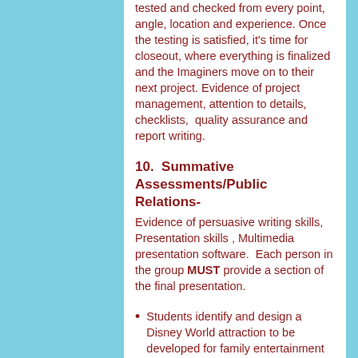tested and checked from every point, angle, location and experience. Once the testing is satisfied, it's time for closeout, where everything is finalized and the Imaginers move on to their next project. Evidence of project management, attention to details, checklists,  quality assurance and report writing.
10.  Summative Assessments/Public Relations-
Evidence of persuasive writing skills, Presentation skills , Multimedia presentation software.  Each person in the group MUST provide a section of the final presentation.
Students identify and design a Disney World attraction to be developed for family entertainment at one of the Walt Disney World